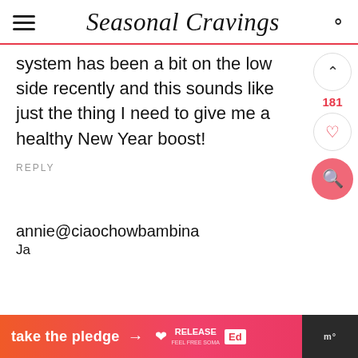Seasonal Cravings
system has been a bit on the low side recently and this sounds like just the thing I need to give me a healthy New Year boost!
REPLY
181
annie@ciaochowbambina
Ja...
take the pledge →